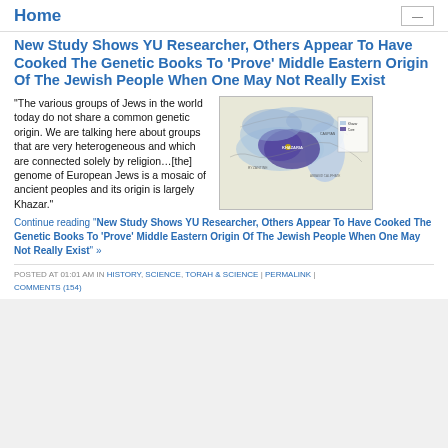Home
New Study Shows YU Researcher, Others Appear To Have Cooked The Genetic Books To 'Prove' Middle Eastern Origin Of The Jewish People When One May Not Really Exist
"The various groups of Jews in the world today do not share a common genetic origin. We are talking here about groups that are very heterogeneous and which are connected solely by religion…[the] genome of European Jews is a mosaic of ancient peoples and its origin is largely Khazar."
[Figure (map): Historical map showing the Khazar Khaganate region around the Caspian and Black Sea area, with blue and purple shaded regions indicating territory.]
Continue reading "New Study Shows YU Researcher, Others Appear To Have Cooked The Genetic Books To 'Prove' Middle Eastern Origin Of The Jewish People When One May Not Really Exist" »
POSTED AT 01:01 AM IN HISTORY, SCIENCE, TORAH & SCIENCE | PERMALINK | COMMENTS (154)